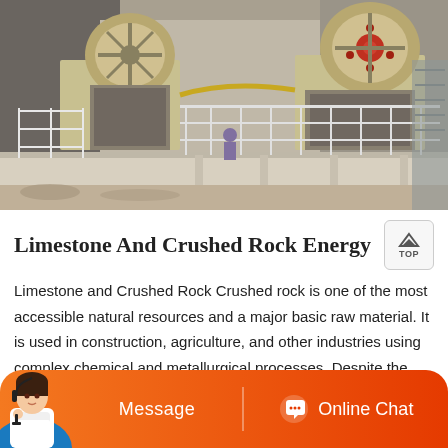[Figure (photo): Industrial rock crushing machinery on an elevated platform at a limestone/crushed rock processing facility. Two large jaw crushers visible with yellow/beige housings, metal grating walkways, support columns, and a worker visible in the background.]
Limestone And Crushed Rock Energy
Limestone and Crushed Rock Crushed rock is one of the most accessible natural resources and a major basic raw material. It is used in construction, agriculture, and other industries using complex chemical and metallurgical processes. Despite the low value of its basic products, the